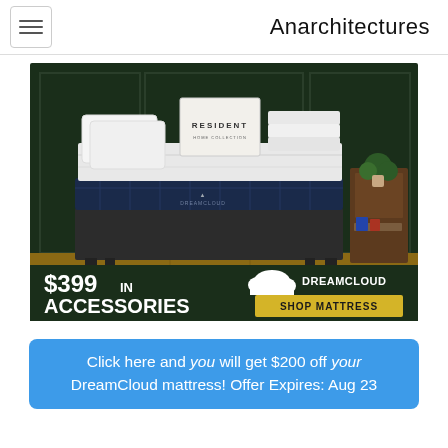Anarchitectures
[Figure (photo): DreamCloud mattress advertisement showing a bed with white bedding and RESIDENT brand pillows/sheets, dark navy mattress, wooden floor background. Bottom banner shows '$399 IN ACCESSORIES' on dark green background with DreamCloud logo and 'SHOP MATTRESS' button in gold/yellow.]
Click here and you will get $200 off your DreamCloud mattress! Offer Expires: Aug 23